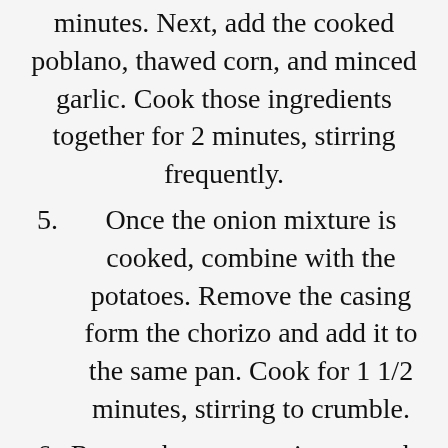minutes. Next, add the cooked poblano, thawed corn, and minced garlic. Cook those ingredients together for 2 minutes, stirring frequently.
5. Once the onion mixture is cooked, combine with the potatoes. Remove the casing form the chorizo and add it to the same pan. Cook for 1 1/2 minutes, stirring to crumble.
6. Return the potato mixture to the pan and stir in the